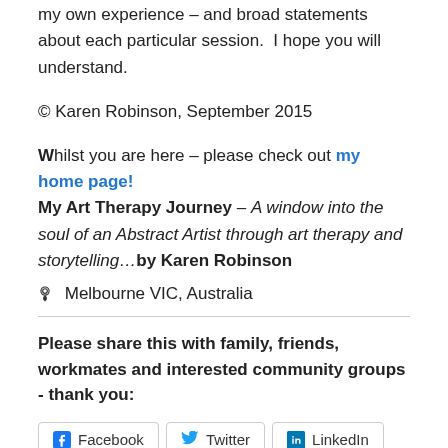my own experience – and broad statements about each particular session.  I hope you will understand.
© Karen Robinson, September 2015
Whilst you are here – please check out my home page! My Art Therapy Journey – A window into the soul of an Abstract Artist through art therapy and storytelling…by Karen Robinson
📍 Melbourne VIC, Australia
Please share this with family, friends, workmates and interested community groups - thank you:
Facebook  Twitter  LinkedIn  Pinterest  Print  Email